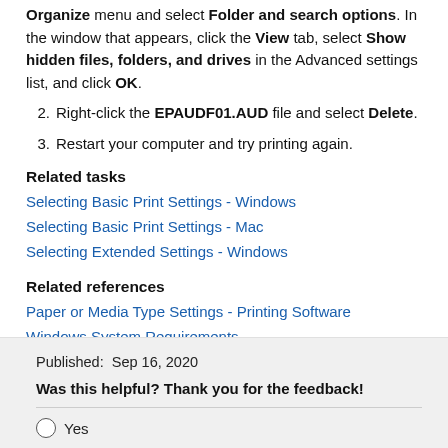Organize menu and select Folder and search options. In the window that appears, click the View tab, select Show hidden files, folders, and drives in the Advanced settings list, and click OK.
2. Right-click the EPAUDF01.AUD file and select Delete.
3. Restart your computer and try printing again.
Related tasks
Selecting Basic Print Settings - Windows
Selecting Basic Print Settings - Mac
Selecting Extended Settings - Windows
Related references
Paper or Media Type Settings - Printing Software
Windows System Requirements
Mac System Requirements
Published:  Sep 16, 2020
Was this helpful? Thank you for the feedback!
Yes